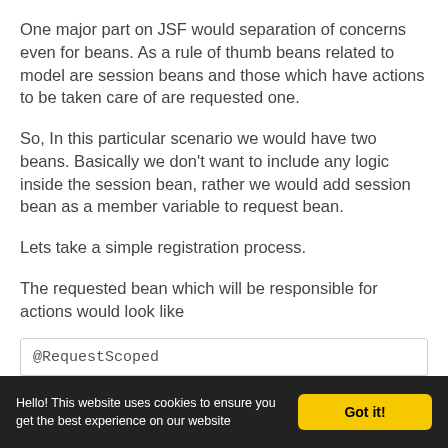One major part on JSF would separation of concerns even for beans. As a rule of thumb beans related to model are session beans and those which have actions to be taken care of are requested one.
So, In this particular scenario we would have two beans. Basically we don't want to include any logic inside the session bean, rather we would add session bean as a member variable to request bean.
Lets take a simple registration process.
The requested bean which will be responsible for actions would look like
Hello! This website uses cookies to ensure you get the best experience on our website